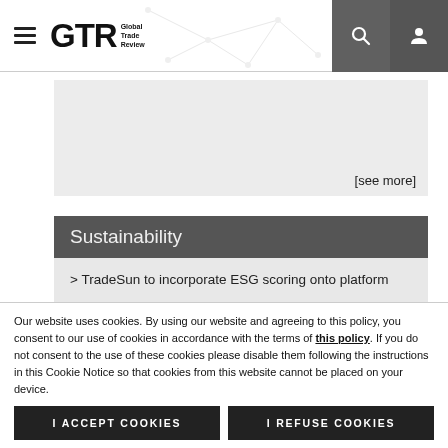GTR Global Trade Review — navigation bar with hamburger menu, logo, search icon, user icon
[see more]
Sustainability
> TradeSun to incorporate ESG scoring onto platform
> Standard Chartered and ADM execute US$500mn green LC prog...
> Cofco International secures US$1.6bn sustainability-linke...
Our website uses cookies. By using our website and agreeing to this policy, you consent to our use of cookies in accordance with the terms of this policy. If you do not consent to the use of these cookies please disable them following the instructions in this Cookie Notice so that cookies from this website cannot be placed on your device.
I ACCEPT COOKIES   I REFUSE COOKIES